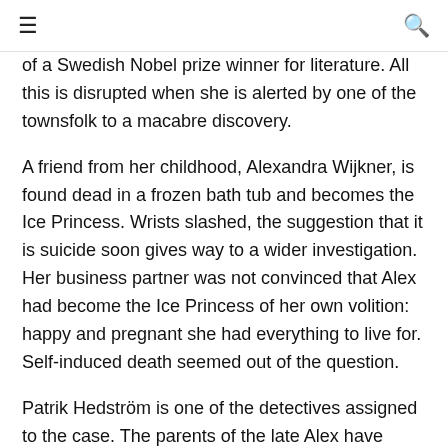≡  🔍
of a Swedish Nobel prize winner for literature. All this is disrupted when she is alerted by one of the townsfolk to a macabre discovery.
A friend from her childhood, Alexandra Wijkner, is found dead in a frozen bath tub and becomes the Ice Princess. Wrists slashed, the suggestion that it is suicide soon gives way to a wider investigation. Her business partner was not convinced that Alex had become the Ice Princess of her own volition: happy and pregnant she had everything to live for. Self-induced death seemed out of the question.
Patrik Hedström is one of the detectives assigned to the case. The parents of the late Alex have asked Erica to